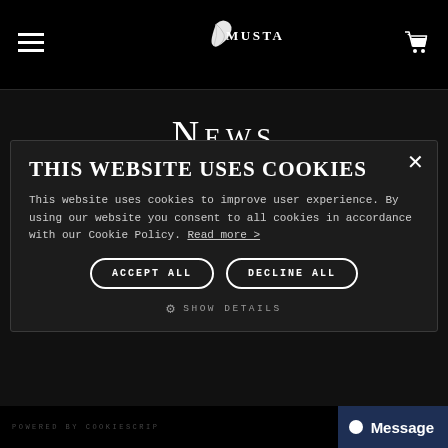MUSTAHÖYHEN
News
Finnish Shaman / Neo Maori / Tribal, Global Magazine, May ...
Bridgerton Themed Wedding, Haat Magazine, October 2021
Photographer Collaboration with Sami Turonen 2021
Finnish Artist Vosta in Summer 2021
International Shipping via UPS
More News...
THIS WEBSITE USES COOKIES

This website uses cookies to improve user experience. By using our website you consent to all cookies in accordance with our Cookie Policy. Read more >
ACCEPT ALL
DECLINE ALL
SHOW DETAILS
POWERED BY COOKIESCRIP
Message